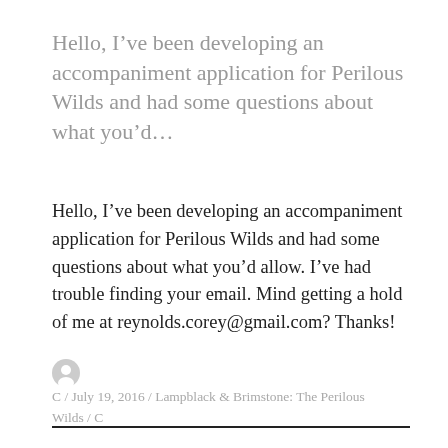Hello, I've been developing an accompaniment application for Perilous Wilds and had some questions about what you'd…
Hello, I've been developing an accompaniment application for Perilous Wilds and had some questions about what you'd allow. I've had trouble finding your email. Mind getting a hold of me at reynolds.corey@gmail.com? Thanks!
C / July 19, 2016 / Lampblack & Brimstone: The Perilous Wilds / C